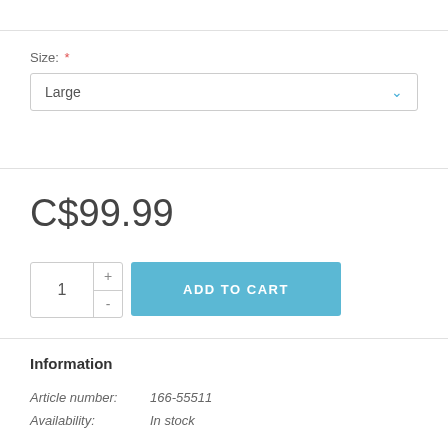Size: *
Large
C$99.99
1 + - ADD TO CART
Information
Article number:   166-55511
Availability:       In stock